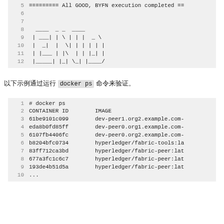# Code block showing BYFN execution completion and ASCII art
以下示例通过运行 docker ps 命令来验证。
# docker ps output showing container IDs and images